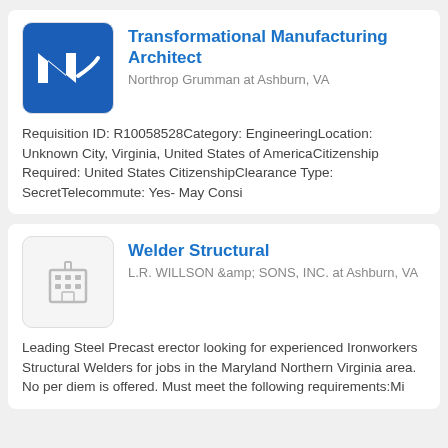Transformational Manufacturing Architect
Northrop Grumman at Ashburn, VA
Requisition ID: R10058528Category: EngineeringLocation: Unknown City, Virginia, United States of AmericaCitizenship Required: United States CitizenshipClearance Type: SecretTelecommute: Yes- May Consi
Welder Structural
L.R. WILLSON &amp; SONS, INC. at Ashburn, VA
Leading Steel Precast erector looking for experienced Ironworkers Structural Welders for jobs in the Maryland Northern Virginia area. No per diem is offered. Must meet the following requirements:Mi